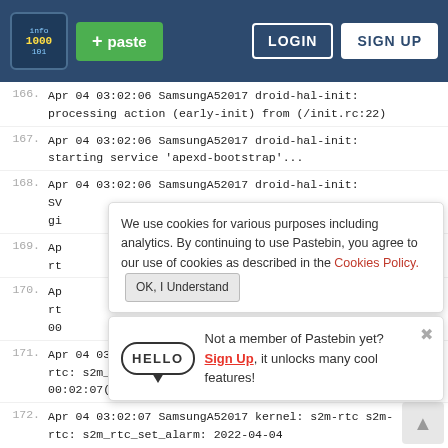Pastebin header with logo, + paste button, LOGIN and SIGN UP buttons
166. Apr 04 03:02:06 SamsungA52017 droid-hal-init: processing action (early-init) from (/init.rc:22)
167. Apr 04 03:02:06 SamsungA52017 droid-hal-init: starting service 'apexd-bootstrap'...
168. Apr 04 03:02:06 SamsungA52017 droid-hal-init: SV gi [partially obscured by cookie banner]
We use cookies for various purposes including analytics. By continuing to use Pastebin, you agree to our use of cookies as described in the Cookies Policy. OK, I Understand
169. Ap rt [partially obscured]
170. Ap rt 00 [partially obscured by sign up popup]
Not a member of Pastebin yet? Sign Up, it unlocks many cool features!
171. Apr 04 03:02:07 SamsungA52017 kernel: s2m-rtc s2m-rtc: s2m_rtc_read_time: 2022-04-04 00:02:07(0x02)AM
172. Apr 04 03:02:07 SamsungA52017 kernel: s2m-rtc s2m-rtc: s2m_rtc_set_alarm: 2022-04-04